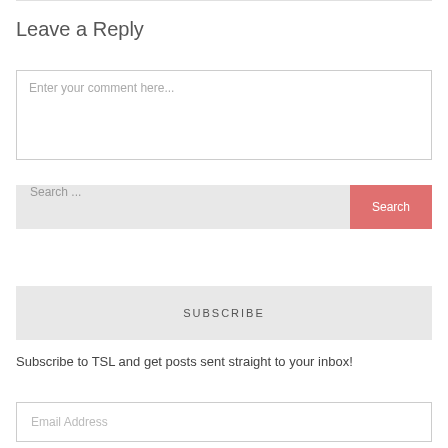Leave a Reply
Enter your comment here...
Search ...
Search
SUBSCRIBE
Subscribe to TSL and get posts sent straight to your inbox!
Email Address